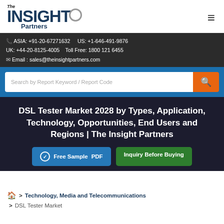[Figure (logo): The Insight Partners logo with circular magnifier icon]
ASIA: +91-20-67271632  US: +1-646-491-9876  UK: +44-20-8125-4005  Toll Free: 1800 121 6455  Email : sales@theinsightpartners.com
Search by Report Keyword / Report Code
DSL Tester Market 2028 by Types, Application, Technology, Opportunities, End Users and Regions | The Insight Partners
Free Sample PDF  Inquiry Before Buying
> Technology, Media and Telecommunications > DSL Tester Market